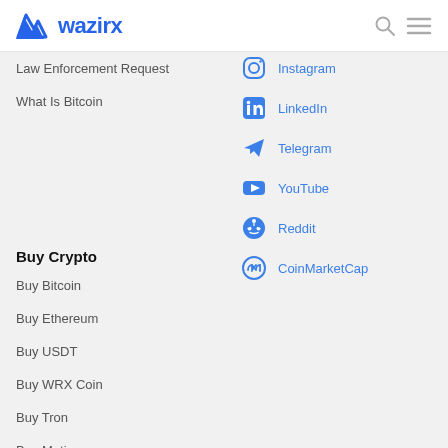wazirx
Law Enforcement Request
What Is Bitcoin
Instagram
LinkedIn
Telegram
YouTube
Reddit
CoinMarketCap
Buy Crypto
Buy Bitcoin
Buy Ethereum
Buy USDT
Buy WRX Coin
Buy Tron
Buy Matic